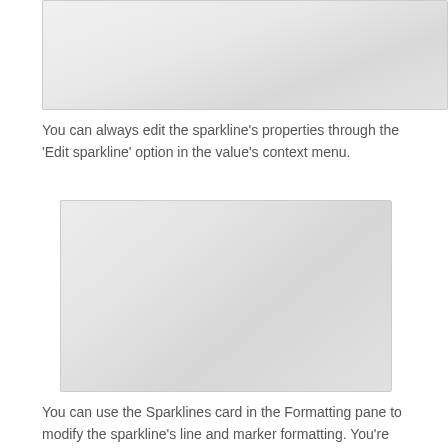[Figure (screenshot): Screenshot of a sparkline or chart panel, partially visible at top of page]
You can always edit the sparkline's properties through the 'Edit sparkline' option in the value's context menu.
[Figure (screenshot): Screenshot of a Sparklines formatting pane or dialog in a software application]
You can use the Sparklines card in the Formatting pane to modify the sparkline's line and marker formatting. You're also able to change the line colour and width, add markers for